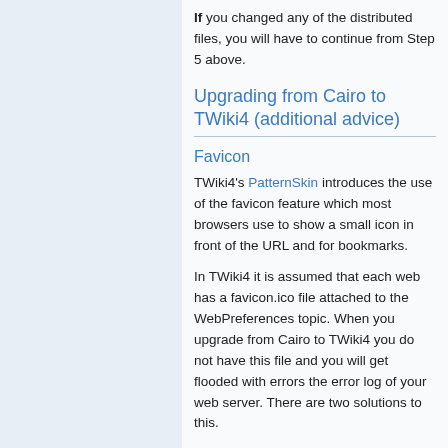If you changed any of the distributed files, you will have to continue from Step 5 above.
Upgrading from Cairo to TWiki4 (additional advice)
Favicon
TWiki4's PatternSkin introduces the use of the favicon feature which most browsers use to show a small icon in front of the URL and for bookmarks.
In TWiki4 it is assumed that each web has a favicon.ico file attached to the WebPreferences topic. When you upgrade from Cairo to TWiki4 you do not have this file and you will get flooded with errors the error log of your web server. There are two solutions to this.